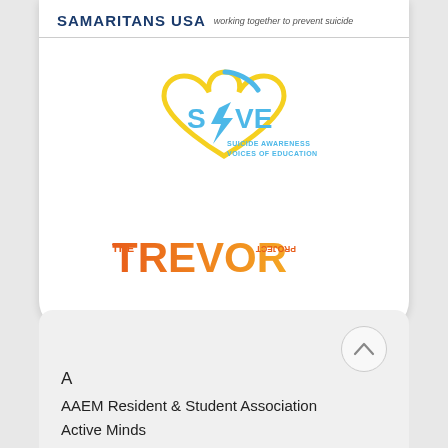SAMARITANS USA working together to prevent suicide
[Figure (logo): SAVE - Suicide Awareness Voices of Education logo with heart shape in yellow and blue]
[Figure (logo): The Trevor Project logo in orange gradient]
A
AAEM Resident & Student Association
Active Minds
Active Minds at Butte College
Active Minds at Colegio